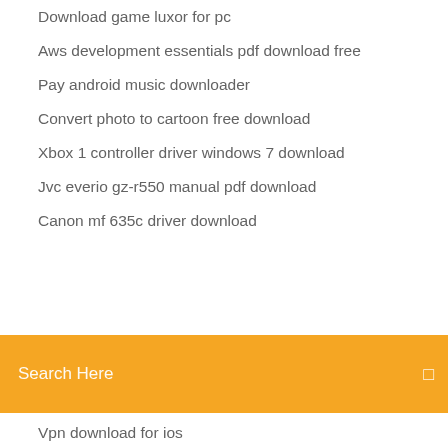Download game luxor for pc
Aws development essentials pdf download free
Pay android music downloader
Convert photo to cartoon free download
Xbox 1 controller driver windows 7 download
Jvc everio gz-r550 manual pdf download
Canon mf 635c driver download
Search Here
Vpn download for ios
Hyperspin android shield set download
Lg aristo 2 device driver download
How to download free music on ios 10
Oavi dthunderbolt driver download
Download frc driver station 2018
The alchemist free pdf download
Hp laserjet 400 color m451dn driver download
Sylenth 1 full version windows download youtube
Drivers for hp laptop download